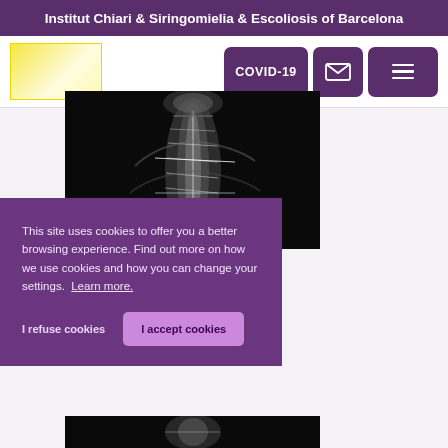Institut Chiari & Siringomielia & Escoliosis of Barcelona
[Figure (logo): Yellow gradient logo placeholder for Institut Chiari & Siringomielia & Escoliosis de Barcelona]
[Figure (screenshot): Navigation buttons: COVID-19, email icon, hamburger menu icon]
[Figure (photo): Medical X-ray image of spine/scoliosis with measurement lines overlaid, dark background]
This site uses cookies to offer you a better browsing experience. Find out more on how we use cookies and how you can change your settings. Learn more.
I refuse cookies
I accept cookies